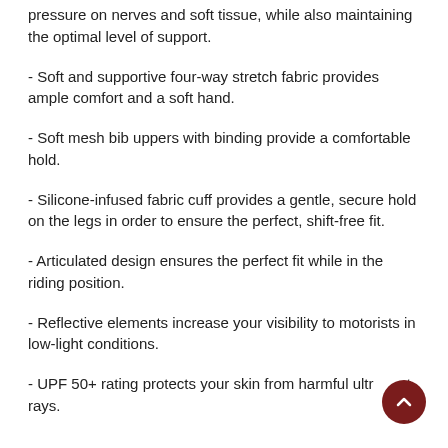pressure on nerves and soft tissue, while also maintaining the optimal level of support.
- Soft and supportive four-way stretch fabric provides ample comfort and a soft hand.
- Soft mesh bib uppers with binding provide a comfortable hold.
- Silicone-infused fabric cuff provides a gentle, secure hold on the legs in order to ensure the perfect, shift-free fit.
- Articulated design ensures the perfect fit while in the riding position.
- Reflective elements increase your visibility to motorists in low-light conditions.
- UPF 50+ rating protects your skin from harmful ultraviolet rays.